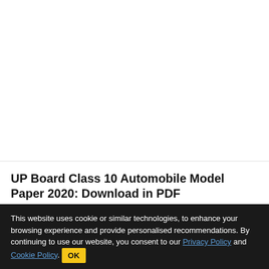UP Board Class 10 Automobile Model Paper 2020: Download in PDF
Latest UP Board class 10 Automobile model paper for Board Exam 2020 is available here in PDF format.
Nov 7, 2019
This website uses cookie or similar technologies, to enhance your browsing experience and provide personalised recommendations. By continuing to use our website, you consent to our Privacy Policy and Cookie Policy.